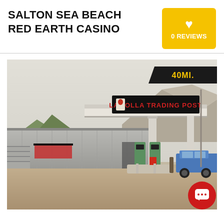SALTON SEA BEACH RED EARTH CASINO
0 REVIEWS
[Figure (photo): Exterior photo of La Jolla Trading Post gas station and convenience store with a large canopy over fuel pumps. A blue car is parked to the right. Mountains visible in background. Distance badge shows 40MI. in upper right corner.]